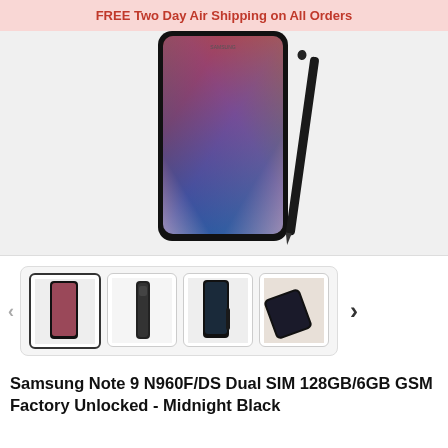FREE Two Day Air Shipping on All Orders
[Figure (photo): Samsung Galaxy Note 9 smartphone shown from front with S Pen stylus beside it, colorful wave wallpaper visible on screen, against light gray background]
[Figure (photo): Thumbnail strip showing four small images of the Samsung Galaxy Note 9 from different angles]
Samsung Note 9 N960F/DS Dual SIM 128GB/6GB GSM Factory Unlocked - Midnight Black